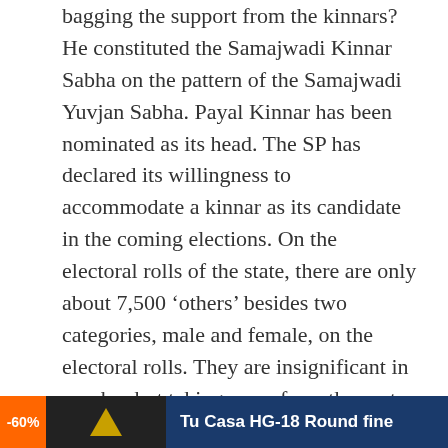bagging the support from the kinnars? He constituted the Samajwadi Kinnar Sabha on the pattern of the Samajwadi Yuvjan Sabha. Payal Kinnar has been nominated as its head. The SP has declared its willingness to accommodate a kinnar as its candidate in the coming elections. On the electoral rolls of the state, there are only about 7,500 'others' besides two categories, male and female, on the electoral rolls. They are insignificant in number but taking a cue from the past, both parties do not want to take any risk. In the 2012 assembly elections, Gulshan alias Bindu (a kinnar) bagged as many as 22,023 votes in Ayodhya assembly constituency, whereas Lallu Singh, the sitting legislator for the last five terms from the BJP, lost the battle by only 5,405 votes to Tej Narain Pandey alias Pawan Pandey of the SP. Bindu was the centre of attraction on the hustings.
[Figure (other): Advertisement banner showing -60% discount badge, dark product image with gold symbol, and blue panel with text 'Tu Casa HG-18 Round fine']